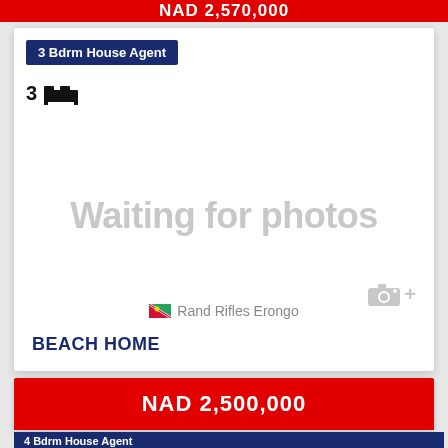NAD 2,570,000
3 Bdrm House Agent
3 [bed icon]
[Figure (illustration): Waiting for photos placeholder with camera icon and plus symbol]
Rand Rifles Erongo
BEACH HOME
NAD 2,500,000
4 Bdrm House Agent